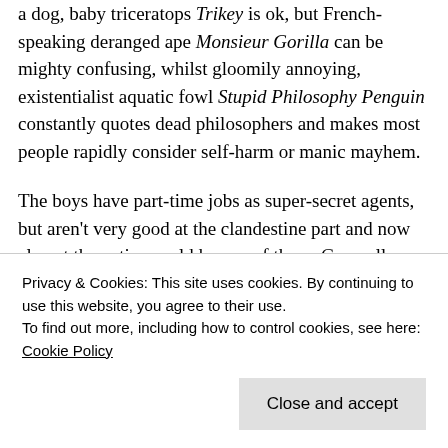a dog, baby triceratops Trikey is ok, but French-speaking deranged ape Monsieur Gorilla can be mighty confusing, whilst gloomily annoying, existentialist aquatic fowl Stupid Philosophy Penguin constantly quotes dead philosophers and makes most people rapidly consider self-harm or manic mayhem.

The boys have part-time jobs as super-secret agents, but aren't very good at the clandestine part and now almost the entire world knows of them. Generally, however, it's enough for the digital duo that their parents love them, even though they are a bit more of a handful than most kids. They live as normal a life as possible...
Privacy & Cookies: This site uses cookies. By continuing to use this website, you agree to their use.
To find out more, including how to control cookies, see here: Cookie Policy
Close and accept